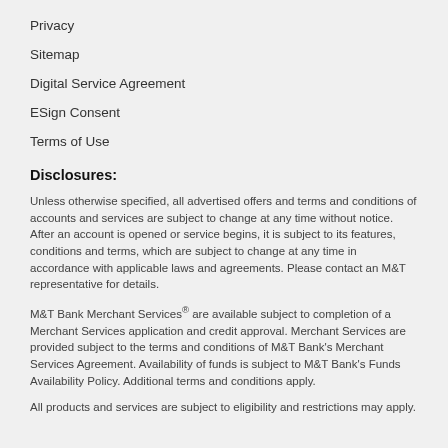Privacy
Sitemap
Digital Service Agreement
ESign Consent
Terms of Use
Disclosures:
Unless otherwise specified, all advertised offers and terms and conditions of accounts and services are subject to change at any time without notice. After an account is opened or service begins, it is subject to its features, conditions and terms, which are subject to change at any time in accordance with applicable laws and agreements. Please contact an M&T representative for details.
M&T Bank Merchant Services® are available subject to completion of a Merchant Services application and credit approval. Merchant Services are provided subject to the terms and conditions of M&T Bank's Merchant Services Agreement. Availability of funds is subject to M&T Bank's Funds Availability Policy. Additional terms and conditions apply.
All products and services are subject to eligibility and restrictions may apply.